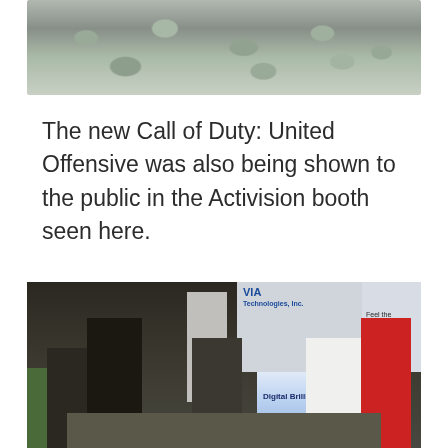[Figure (photo): Close-up photo of a textured surface with rounded bumpy shapes, possibly reptile skin or abstract texture, in grey/green tones.]
The new Call of Duty: United Offensive was also being shown to the public in the Activision booth seen here.
[Figure (photo): Photo of a trade show convention floor showing the VIA Technologies Inc. booth with banners reading 'Digital Brilliance' and 'Feel the Warmth of Sound'. Several attendees are visible browsing the booth. A table of contents icon and scroll-up arrow button UI elements are overlaid on the right edge.]